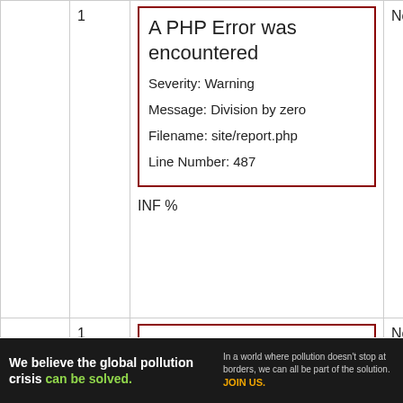|  | 1 | A PHP Error was encountered
Severity: Warning
Message: Division by zero
Filename: site/report.php
Line Number: 487

INF % | No |
|  | 1 | A PHP Error was encountered
Severity: Warning | No |
[Figure (infographic): Advertisement banner: 'We believe the global pollution crisis can be solved.' with Pure Earth logo]